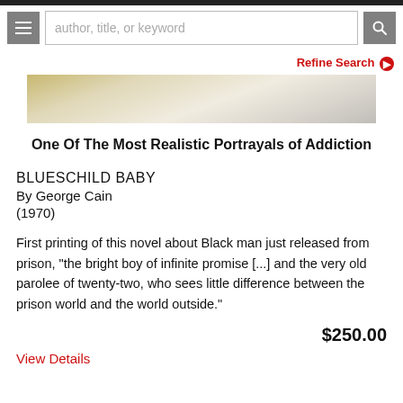author, title, or keyword
Refine Search
[Figure (photo): Partial view of a book cover, showing a light-colored book spine and pages against a white background]
One Of The Most Realistic Portrayals of Addiction
BLUESCHILD BABY
By George Cain
(1970)
First printing of this novel about Black man just released from prison, "the bright boy of infinite promise [...] and the very old parolee of twenty-two, who sees little difference between the prison world and the world outside."
$250.00
View Details